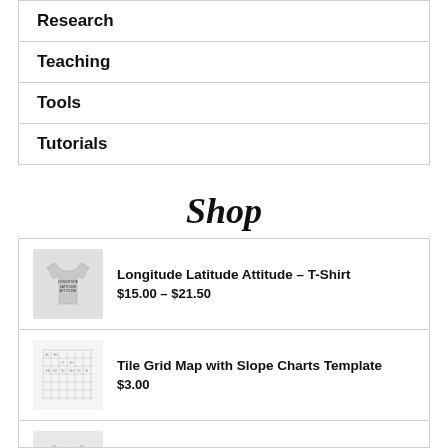Research
Teaching
Tools
Tutorials
Shop
Longitude Latitude Attitude – T-Shirt
$15.00 – $21.50
Tile Grid Map with Slope Charts Template
$3.00
Punch with Facts – T-Shirt
$15.00 – $17.00